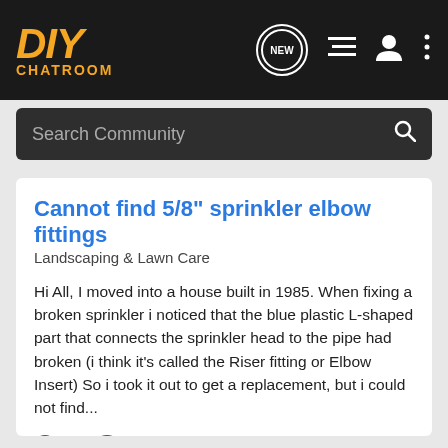DIY CHATROOM
Search Community
Cannot find 5/8" sprinkler elbow fittings
Landscaping & Lawn Care
Hi All, I moved into a house built in 1985. When fixing a broken sprinkler i noticed that the blue plastic L-shaped part that connects the sprinkler head to the pipe had broken (i think it's called the Riser fitting or Elbow Insert) So i took it out to get a replacement, but i could not find...
5 comments · 840 views
st_group · May 26, 2018
elbow insert
fittings
riser
sprinkler